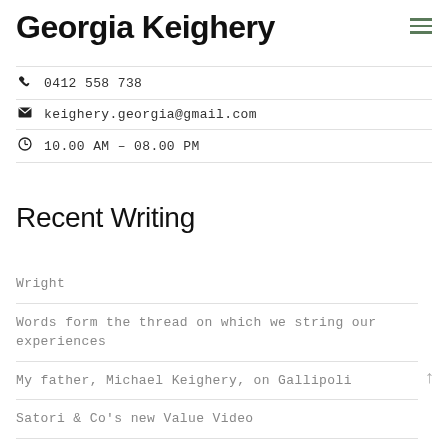Georgia Keighery
0412 558 738
keighery.georgia@gmail.com
10.00 AM – 08.00 PM
Recent Writing
Wright
Words form the thread on which we string our experiences
My father, Michael Keighery, on Gallipoli
Satori & Co's new Value Video